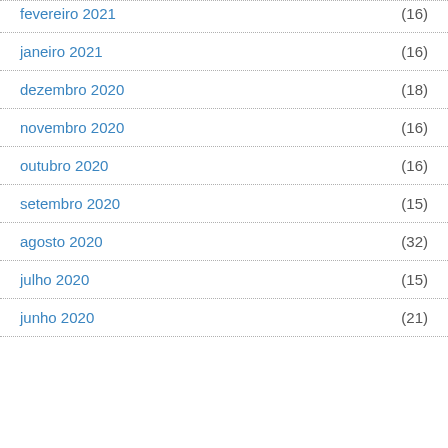fevereiro 2021 (16)
janeiro 2021 (16)
dezembro 2020 (18)
novembro 2020 (16)
outubro 2020 (16)
setembro 2020 (15)
agosto 2020 (32)
julho 2020 (15)
junho 2020 (21)